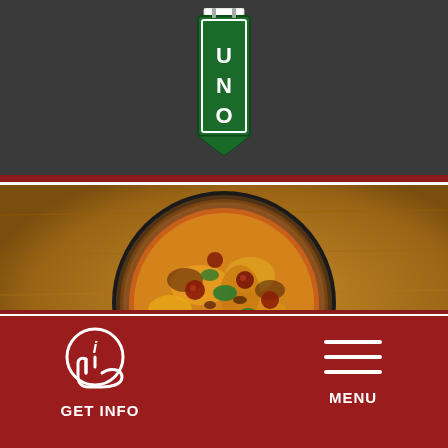[Figure (logo): Pizzeria Uno logo showing a vertical banner/sign with 'UNO' text in green and white]
[Figure (photo): Overhead photo of a pizza in a dark round pan on a wood table, topped with melted cheese, pepperoni, green peppers, and other toppings]
GET INFO
MENU